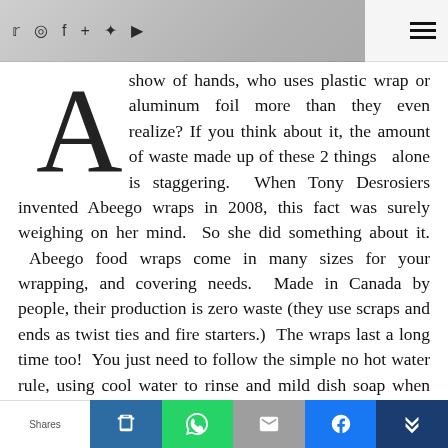social icons: twitter, instagram, facebook, plus, pinterest, youtube | hamburger menu
[Figure (photo): Dark banner image behind social icons header]
A show of hands, who uses plastic wrap or aluminum foil more than they even realize? If you think about it, the amount of waste made up of these 2 things alone is staggering. When Tony Desrosiers invented Abeego wraps in 2008, this fact was surely weighing on her mind. So she did something about it. Abeego food wraps come in many sizes for your wrapping, and covering needs. Made in Canada by people, their production is zero waste (they use scraps and ends as twist ties and fire starters.) The wraps last a long time too! You just need to follow the simple no hot water rule, using cool water to rinse and mild dish soap when needed. Expect your abeego
Shares | [social share buttons: clipboard, whatsapp, email, facebook, crown]